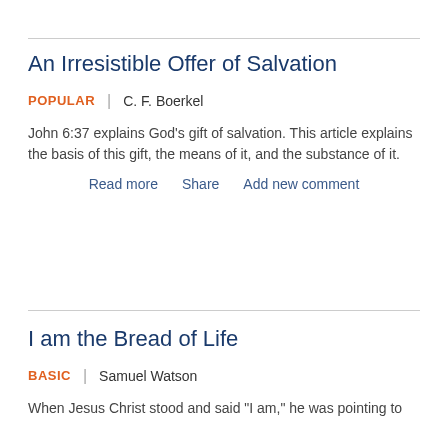An Irresistible Offer of Salvation
POPULAR | C. F. Boerkel
John 6:37 explains God's gift of salvation. This article explains the basis of this gift, the means of it, and the substance of it.
Read more  Share  Add new comment
I am the Bread of Life
BASIC | Samuel Watson
When Jesus Christ stood and said "I am," he was pointing to